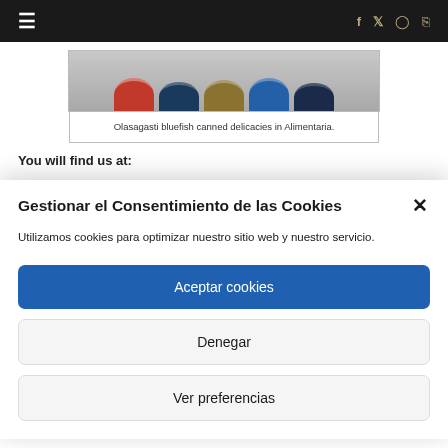≡  f  𝕏  📷  RSS
[Figure (photo): Olasagasti bluefish canned delicacies product tins viewed from above, showing multiple colored cans]
Olasagasti bluefish canned delicacies in Alimentaria.
You will find us at:
Gestionar el Consentimiento de las Cookies
Utilizamos cookies para optimizar nuestro sitio web y nuestro servicio.
Aceptar cookies
Denegar
Ver preferencias